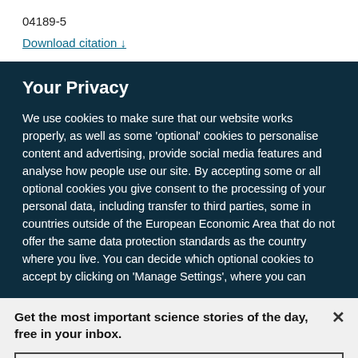04189-5
Download citation ↓
Your Privacy
We use cookies to make sure that our website works properly, as well as some 'optional' cookies to personalise content and advertising, provide social media features and analyse how people use our site. By accepting some or all optional cookies you give consent to the processing of your personal data, including transfer to third parties, some in countries outside of the European Economic Area that do not offer the same data protection standards as the country where you live. You can decide which optional cookies to accept by clicking on 'Manage Settings', where you can
Get the most important science stories of the day, free in your inbox.
Sign up for Nature Briefing